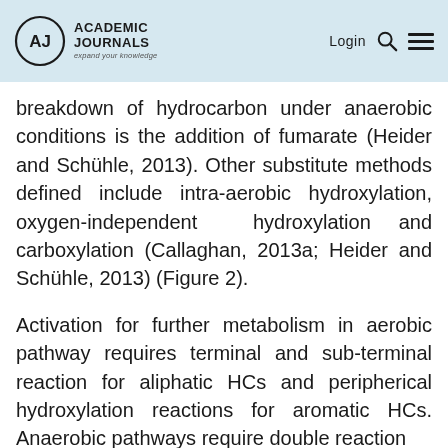Academic Journals — Login
breakdown of hydrocarbon under anaerobic conditions is the addition of fumarate (Heider and Schühle, 2013). Other substitute methods defined include intra-aerobic hydroxylation, oxygen-independent hydroxylation and carboxylation (Callaghan, 2013a; Heider and Schühle, 2013) (Figure 2).
Activation for further metabolism in aerobic pathway requires terminal and sub-terminal reaction for aliphatic HCs and peripherical hydroxylation reactions for aromatic HCs. Anaerobic pathways require double reaction